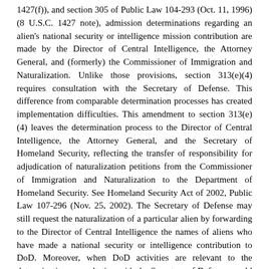1427(f)), and section 305 of Public Law 104-293 (Oct. 11, 1996) (8 U.S.C. 1427 note), admission determinations regarding an alien's national security or intelligence mission contribution are made by the Director of Central Intelligence, the Attorney General, and (formerly) the Commissioner of Immigration and Naturalization. Unlike those provisions, section 313(e)(4) requires consultation with the Secretary of Defense. This difference from comparable determination processes has created implementation difficulties. This amendment to section 313(e)(4) leaves the determination process to the Director of Central Intelligence, the Attorney General, and the Secretary of Homeland Security, reflecting the transfer of responsibility for adjudication of naturalization petitions from the Commissioner of Immigration and Naturalization to the Department of Homeland Security. See Homeland Security Act of 2002, Public Law 107-296 (Nov. 25, 2002). The Secretary of Defense may still request the naturalization of a particular alien by forwarding to the Director of Central Intelligence the names of aliens who have made a national security or intelligence contribution to DoD. Moreover, when DoD activities are relevant to the determination, consultation with the Secretary of Defense would still be required.
Section 354. Modification to definition of financial institution in the Right to Financial Privacy Act
Section 354 provides broad authority from the internal...